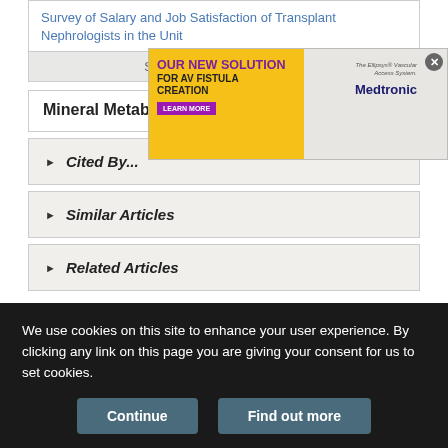Survey of Salary and Job Satisfaction of Transplant Nephrologists in the Unit...
[Figure (other): Advertisement banner for Medtronic AV Fistula Creation solution - OUR NEW SOLUTION FOR AV FISTULA CREATION, LEARN MORE, The Ellipsys Vascular Access System, Medtronic]
Show more Original Articles
Mineral Metabolism/Bone Disease
Cited By...
Similar Articles
Related Articles
We recommend
We use cookies on this site to enhance your user experience. By clicking any link on this page you are giving your consent for us to set cookies.
Continue   Find out more